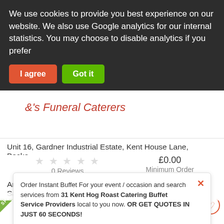We use cookies to provide you best experience on our website. We also use Google analytics for our internal statistics. You may choose to disable analytics if you prefer
I agree | Got it
Unit 16, Gardner Industrial Estate, Kent House Lane, Becke...
0 Reviews   £0.00   Minimum Order
American Buffets, Indian Catering, Mediterranean Buffet, Sa...
Distance : 7 miles
Delivery  Pickup  Dinein
Order Instant Buffet For your event / occasion and search services from 31 Kent Hog Roast Catering Buffet Service Providers local to you now. OR GET QUOTES IN JUST 60 SECONDS!
Search Now | Get Quotes
SPONSORED | Open